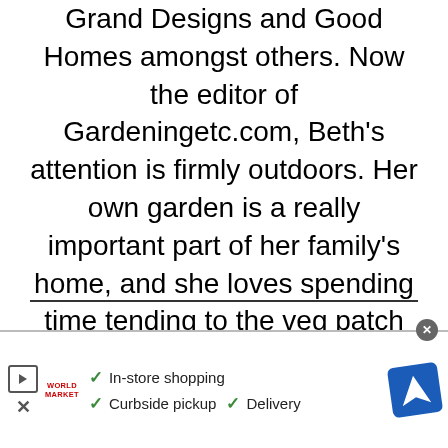Grand Designs and Good Homes amongst others. Now the editor of Gardeningetc.com, Beth's attention is firmly outdoors. Her own garden is a really important part of her family's home, and she loves spending time tending to the veg patch or entertaining friends and family at a summer BBQ or alfresco pizza night.
[Figure (infographic): Advertisement bar with play/close button, World Market logo, checkmarks for In-store shopping, Curbside pickup, Delivery, and a blue navigation icon]